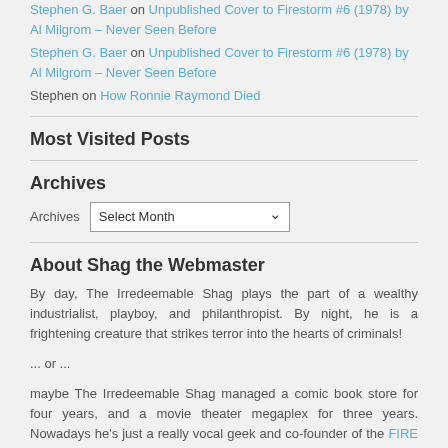Stephen G. Baer on Unpublished Cover to Firestorm #6 (1978) by Al Milgrom – Never Seen Before
Stephen G. Baer on Unpublished Cover to Firestorm #6 (1978) by Al Milgrom – Never Seen Before
Stephen on How Ronnie Raymond Died
Most Visited Posts
Archives
Archives   Select Month
About Shag the Webmaster
By day, The Irredeemable Shag plays the part of a wealthy industrialist, playboy, and philanthropist. By night, he is a frightening creature that strikes terror into the hearts of criminals!
... or ...
maybe The Irredeemable Shag managed a comic book store for four years, and a movie theater megaplex for three years. Nowadays he's just a really vocal geek and co-founder of the FIRE AND WATER PODCAST